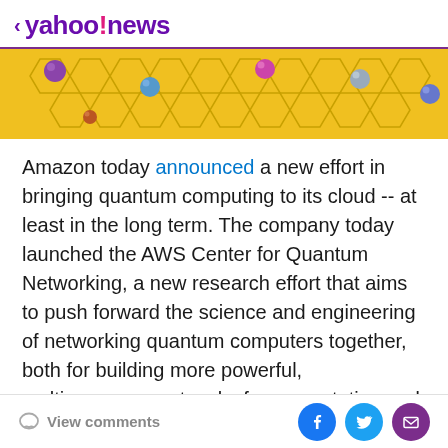< yahoo!news
[Figure (photo): Hero image showing quantum computing hardware components (colorful spherical nodes) on a yellow hexagonal background]
Amazon today announced a new effort in bringing quantum computing to its cloud -- at least in the long term. The company today launched the AWS Center for Quantum Networking, a new research effort that aims to push forward the science and engineering of networking quantum computers together, both for building more powerful, multiprocessor networks for computation and for creating secure quantum communication networks.
In recent years, Amazon and its AWS cloud computing unit made a number of major investments in quantum
View comments